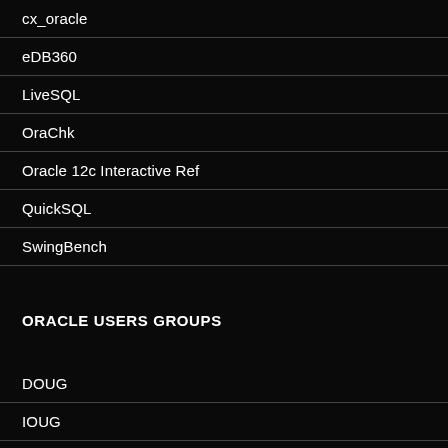cx_oracle
eDB360
LiveSQL
OraChk
Oracle 12c Interactive Ref
QuickSQL
SwingBench
ORACLE USERS GROUPS
DOUG
IOUG